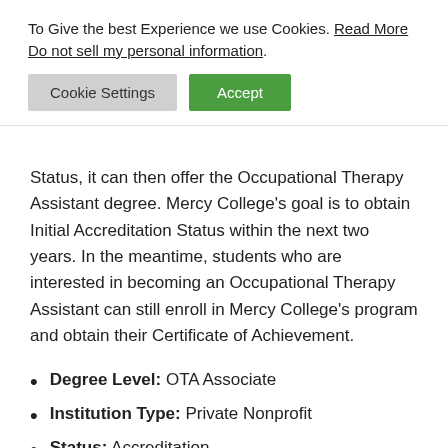To Give the best Experience we use Cookies. Read More Do not sell my personal information.
Cookie Settings | Accept
Status, it can then offer the Occupational Therapy Assistant degree. Mercy College's goal is to obtain Initial Accreditation Status within the next two years. In the meantime, students who are interested in becoming an Occupational Therapy Assistant can still enroll in Mercy College's program and obtain their Certificate of Achievement.
Degree Level: OTA Associate
Institution Type: Private Nonprofit
Status: Accreditation